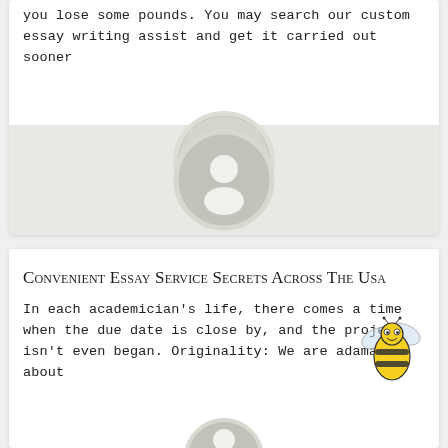you lose some pounds. You may search our custom essay writing assist and get it carried out sooner
[Figure (illustration): Generic user avatar: circular gray silhouette of a person on a light beige/gray textured background strip]
Convenient Essay Service Secrets Across The Usa
In each academician's life, there comes a time when the due date is close by, and the project isn't even began. Originality: We are adamant about
[Figure (illustration): Cartoon yellow and black bee illustration in bottom right corner]
[Figure (illustration): Partial gray avatar circle visible at bottom center of card]